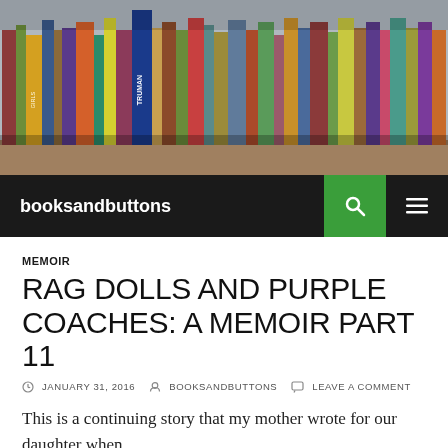[Figure (photo): Photograph of a bookshelf filled with colorful books viewed from below, including a visible book spine reading 'TRUMAN']
booksandbuttons
MEMOIR
RAG DOLLS AND PURPLE COACHES: A MEMOIR PART 11
JANUARY 31, 2016   BOOKSANDBUTTONS   LEAVE A COMMENT
This is a continuing story that my mother wrote for our daughter when she was little. The last episode ended with the beginnings of